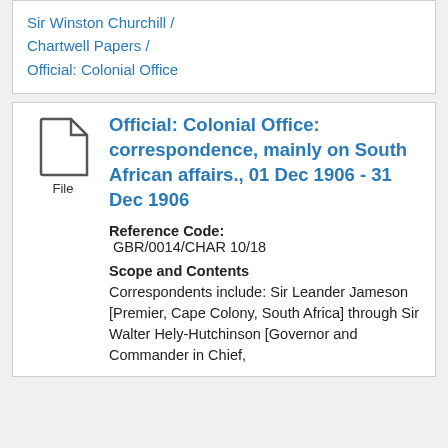Sir Winston Churchill / Chartwell Papers / Official: Colonial Office
Official: Colonial Office: correspondence, mainly on South African affairs., 01 Dec 1906 - 31 Dec 1906
Reference Code: GBR/0014/CHAR 10/18
Scope and Contents
Correspondents include: Sir Leander Jameson [Premier, Cape Colony, South Africa] through Sir Walter Hely-Hutchinson [Governor and Commander in Chief,